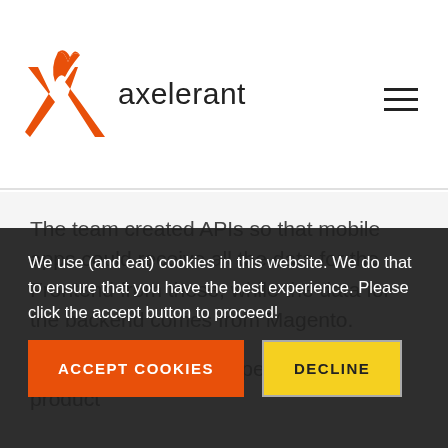[Figure (logo): Axelerant logo with orange flame/X icon and 'axelerant' text]
The team created APIs so that mobile apps could receive all the data for the Frontend from these, while the data for the backend comes from Magento.
For all the Frontend aspects, like the product detail page, product search page, product listing page, checkout, and checkout or registration - the Magento API is used
We use (and eat) cookies in this website. We do that to ensure that you have the best experience. Please click the accept button to proceed!